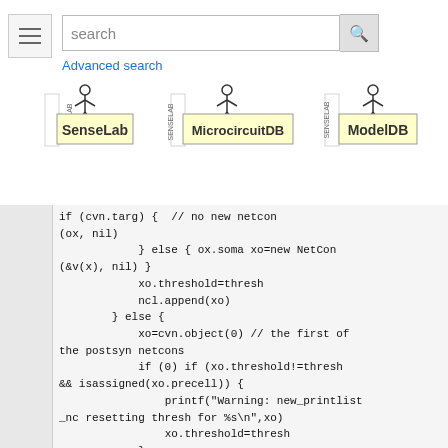search | Advanced search | SenseLab | MicrocircuitDB | ModelDB
[Figure (screenshot): Navigation header with hamburger menu, search bar, and three database logos: SenseLab, MicrocircuitDB, ModelDB]
if (cvn.targ) { // no new netcon
(ox, nil)
            } else { ox.soma xo=new NetCon
(&v(x), nil) }
            xo.threshold=thresh
            ncl.append(xo)
        } else {
            xo=cvn.object(0) // the first of
the postsyn netcons
            if (0) if (xo.threshold!=thresh
&& isassigned(xo.precell)) {
                printf("Warning: new_printlist
_nc resetting thresh for %s\n",xo)
                xo.threshold=thresh
            }
        }
    }
    xo.record(yo.tvec,yo.vec,id)
    return yo
}